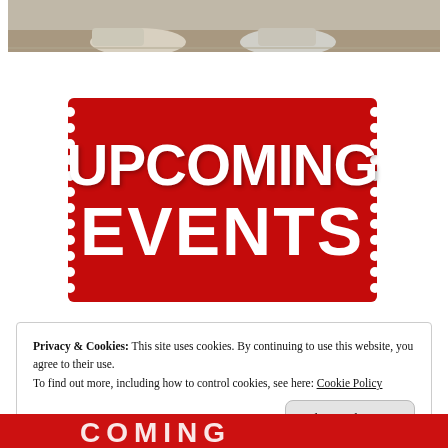[Figure (photo): Top portion of a photo showing someone's feet/shoes on pavement, cropped at the top of the page]
[Figure (illustration): Red ticket-shaped graphic with white bold text reading 'UPCOMING EVENTS' on a perforated ticket background]
Privacy & Cookies: This site uses cookies. By continuing to use this website, you agree to their use.
To find out more, including how to control cookies, see here: Cookie Policy
Close and accept
[Figure (illustration): Bottom portion of another red graphic partially visible at the bottom of the page]